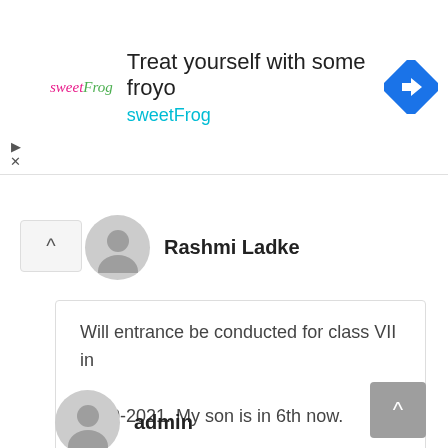[Figure (other): Advertisement banner for sweetFrog frozen yogurt with logo, text 'Treat yourself with some froyo sweetFrog', and navigation icon]
Rashmi Ladke
Will entrance be conducted for class VII in 2020-2021. My son is in 6th now.
Reply
admin